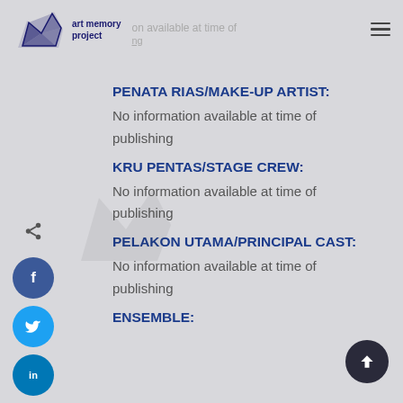my art memory project
No information available at time of publishing
PENATA RIAS/MAKE-UP ARTIST:
No information available at time of publishing
KRU PENTAS/STAGE CREW:
No information available at time of publishing
PELAKON UTAMA/PRINCIPAL CAST:
No information available at time of publishing
ENSEMBLE: